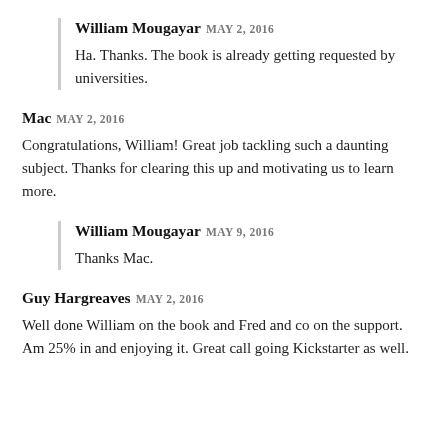William Mougayar MAY 2, 2016
Ha. Thanks. The book is already getting requested by universities.
Mac MAY 2, 2016
Congratulations, William! Great job tackling such a daunting subject. Thanks for clearing this up and motivating us to learn more.
William Mougayar MAY 9, 2016
Thanks Mac.
Guy Hargreaves MAY 2, 2016
Well done William on the book and Fred and co on the support. Am 25% in and enjoying it. Great call going Kickstarter as well.